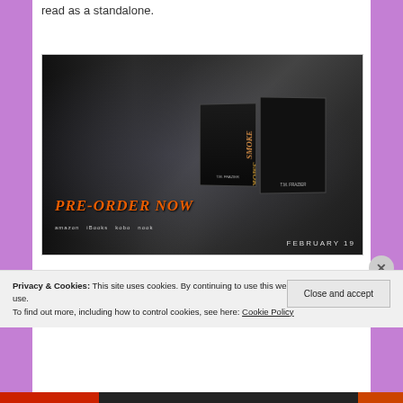read as a standalone.
[Figure (photo): Book promotion banner for 'SMOKE' by T.M. Frazier showing a heavily tattooed bearded man, two book covers (ebook and print), PRE-ORDER NOW text in orange, retailer logos (amazon, iBooks, kobo, nook), and FEBRUARY 19 date.]
Privacy & Cookies: This site uses cookies. By continuing to use this website, you agree to their use.
To find out more, including how to control cookies, see here: Cookie Policy
Close and accept